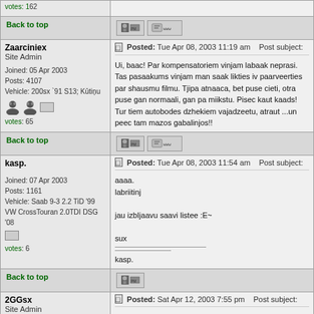Back to top
Zaarciniex
Site Admin
Joined: 05 Apr 2003
Posts: 4107
Vehicle: 200sx `91 S13; Kūtiņu
votes: 65
Posted: Tue Apr 08, 2003 11:19 am   Post subject:
Ui, baac! Par kompensatoriem vinjam labaak neprasi.  Tas pasaakums vinjam man saak likties iv paarveerties par shausmu filmu. Tjipa atnaaca, bet puse cieti, otra puse gan normaali, gan pa miikstu. Pisec kaut kaads!  Tur tiem autobodes dzhekiem vajadzeetu, atraut ...un peec tam mazos gabalinjos!!
Back to top
kasp.
Joined: 07 Apr 2003
Posts: 1161
Vehicle: Saab 9-3 2.2 TiD '99 VW CrossTouran 2.0TDI DSG '08
votes: 6
Posted: Tue Apr 08, 2003 11:54 am   Post subject:
aaaa.
labriitinj

jau izbIjaavu saavi listee :E~

sux

________________
________
kasp.
Back to top
2GGsx
Site Admin
Posted: Sat Apr 12, 2003 7:55 pm   Post subject: